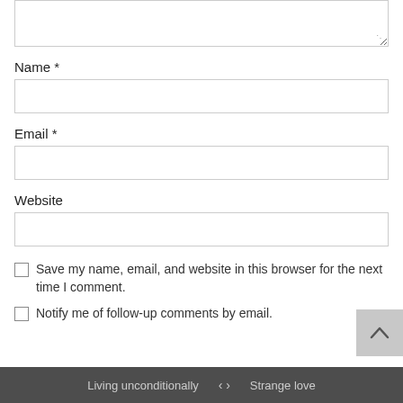[Figure (screenshot): Textarea input box with resize handle at bottom right]
Name *
[Figure (screenshot): Name text input field]
Email *
[Figure (screenshot): Email text input field]
Website
[Figure (screenshot): Website text input field]
Save my name, email, and website in this browser for the next time I comment.
Notify me of follow-up comments by email.
Living unconditionally  < >  Strange love